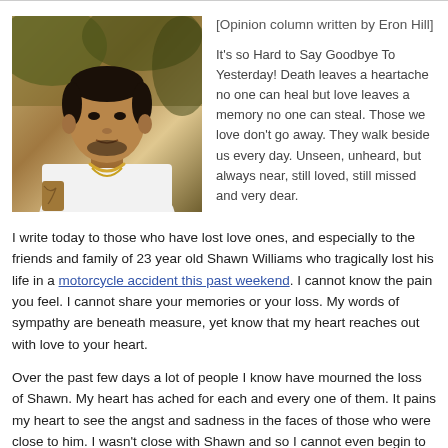[Figure (photo): Photo of a young man in a white t-shirt and gold chain necklace, sitting outdoors with trees in the background.]
[Opinion column written by Eron Hill]
It's so Hard to Say Goodbye To Yesterday! Death leaves a heartache no one can heal but love leaves a memory no one can steal. Those we love don't go away. They walk beside us every day. Unseen, unheard, but always near, still loved, still missed and very dear.
I write today to those who have lost love ones, and especially to the friends and family of 23 year old Shawn Williams who tragically lost his life in a motorcycle accident this past weekend. I cannot know the pain you feel. I cannot share your memories or your loss. My words of sympathy are beneath measure, yet know that my heart reaches out with love to your heart.
Over the past few days a lot of people I know have mourned the loss of Shawn. My heart has ached for each and every one of them. It pains my heart to see the angst and sadness in the faces of those who were close to him. I wasn't close with Shawn and so I cannot even begin to imagine how